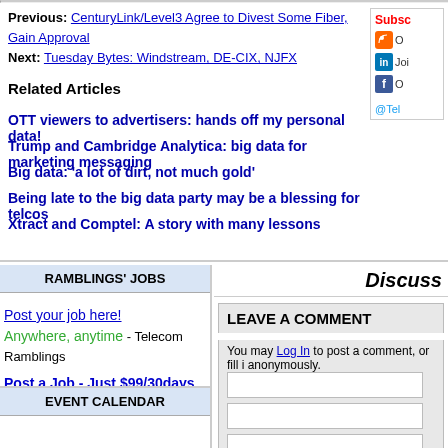Previous: CenturyLink/Level3 Agree to Divest Some Fiber, Gain Approval
Next: Tuesday Bytes: Windstream, DE-CIX, NJFX
Related Articles
OTT viewers to advertisers: hands off my personal data!
Trump and Cambridge Analytica: big data for marketing messaging
Big data: 'a lot of dirt, not much gold'
Being late to the big data party may be a blessing for telcos
Xtract and Comptel: A story with many lessons
Subsc
O
Joi
O
@Tel
RAMBLINGS' JOBS
Post your job here!
Anywhere, anytime - Telecom Ramblings
Post a Job - Just $99/30days
EVENT CALENDAR
Discuss
LEAVE A COMMENT
You may Log In to post a comment, or fill i anonymously.